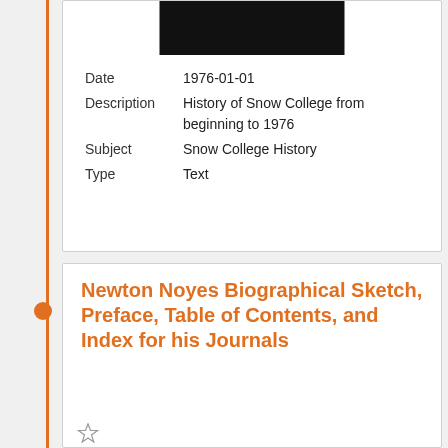[Figure (photo): Dark/black photo image at top of upper card]
| Date | 1976-01-01 |
| Description | History of Snow College from beginning to 1976 |
| Subject | Snow College History |
| Type | Text |
Newton Noyes Biographical Sketch, Preface, Table of Contents, and Index for his Journals
[Figure (photo): Small preview image of document page at bottom of lower card]